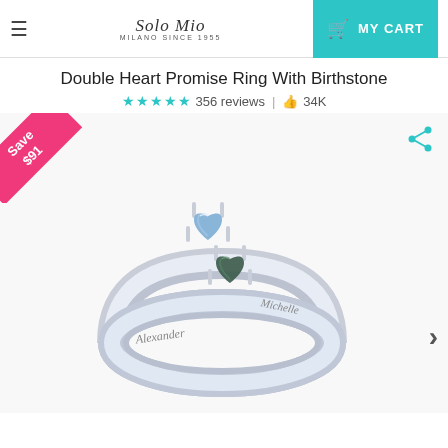Solo Mio MILANO SINCE 1955 | MY CART
Double Heart Promise Ring With Birthstone
356 reviews | 34K
[Figure (photo): Silver double heart promise ring with two gemstone hearts (blue sapphire and dark green stones) set in prongs on a silver band engraved with names 'Alexander' and 'Michelle'. Pink triangular 'Save $91' badge in top-left corner.]